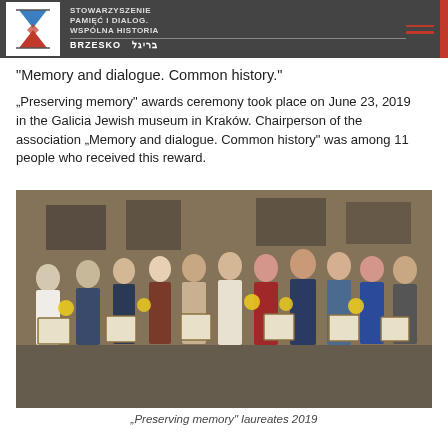STOWARZYSZENIE PAMIĘĆ I DIALOG. WSPÓLNA HISTORIA BRZESKO
“Memory and dialogue. Common history.”
„Preserving memory” awards ceremony took place on June 23, 2019 in the Galicia Jewish museum in Kraków. Chairperson of the association „Memory and dialogue. Common history” was among 11 people who received this reward.
[Figure (photo): Group photo of 11 award laureates standing together holding framed certificates and sunflowers in an indoor venue with brick walls and artwork in the background.]
„Preserving memory” laureates 2019